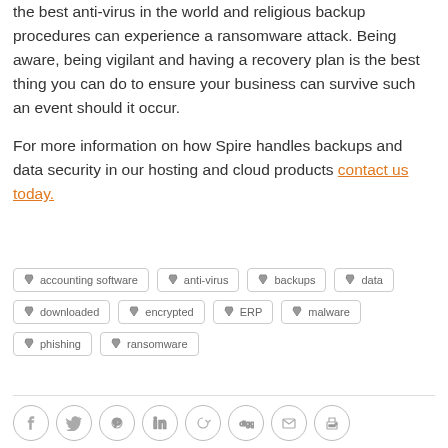the best anti-virus in the world and religious backup procedures can experience a ransomware attack. Being aware, being vigilant and having a recovery plan is the best thing you can do to ensure your business can survive such an event should it occur.

For more information on how Spire handles backups and data security in our hosting and cloud products contact us today.
accounting software
anti-virus
backups
data
downloaded
encrypted
ERP
malware
phishing
ransomware